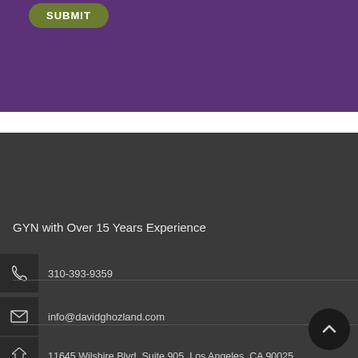[Figure (other): Purple background section with a green rounded SUBMIT button at the top]
GYN with Over 15 Years Experience
310-393-9359
info@davidghozland.com
11645 Wilshire Blvd. Suite 905, Los Angeles, CA 90025